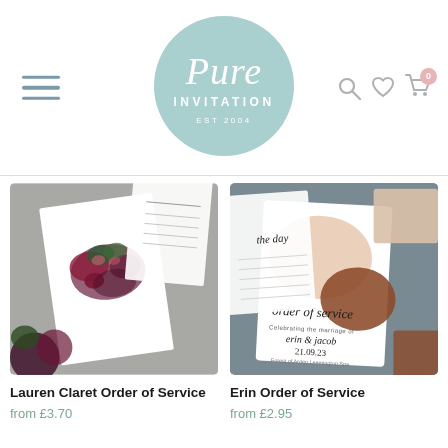[Figure (logo): Pure Invitation logo — script text 'Pure' over 'INVITATION EST 2004' inside a sage/teal circle]
[Figure (photo): Lauren Claret Order of Service product — white wedding stationery cards with dark red floral arrangement on grey background]
Lauren Claret Order of Service
from £3.70
[Figure (photo): Erin Order of Service product — modern abstract wedding stationery with peach and terracotta blobs on grey background, text reads 'order of service, Celebrating the marriage of erin & jacob 21.09.23']
Erin Order of Service
from £2.95